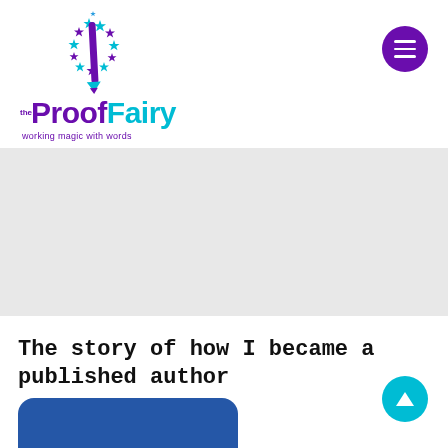[Figure (logo): The Proof Fairy logo — a purple pen/pencil with a circle of blue and purple stars forming the letter P, with text 'the ProofFairy' in purple and teal, tagline 'working magic with words']
[Figure (photo): Light grey hero banner image placeholder]
The story of how I became a published author
[Figure (photo): Blue rounded rectangle thumbnail preview at bottom]